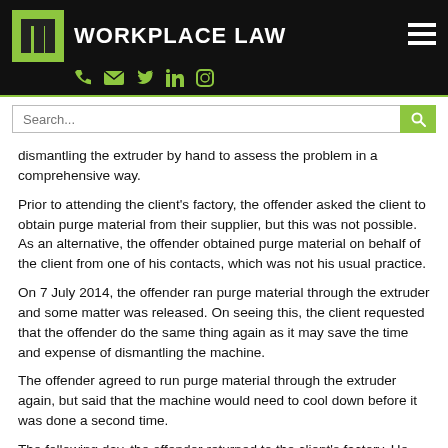WORKPLACE LAW
dismantling the extruder by hand to assess the problem in a comprehensive way.
Prior to attending the client’s factory, the offender asked the client to obtain purge material from their supplier, but this was not possible. As an alternative, the offender obtained purge material on behalf of the client from one of his contacts, which was not his usual practice.
On 7 July 2014, the offender ran purge material through the extruder and some matter was released. On seeing this, the client requested that the offender do the same thing again as it may save the time and expense of dismantling the machine.
The offender agreed to run purge material through the extruder again, but said that the machine would need to cool down before it was done a second time.
The following day, the offender returned to the client’s factory. He began loading the purge material into the